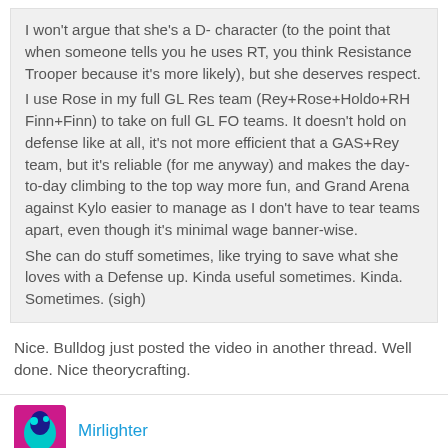I won't argue that she's a D- character (to the point that when someone tells you he uses RT, you think Resistance Trooper because it's more likely), but she deserves respect.
I use Rose in my full GL Res team (Rey+Rose+Holdo+RH Finn+Finn) to take on full GL FO teams. It doesn't hold on defense like at all, it's not more efficient that a GAS+Rey team, but it's reliable (for me anyway) and makes the day-to-day climbing to the top way more fun, and Grand Arena against Kylo easier to manage as I don't have to tear teams apart, even though it's minimal wage banner-wise.
She can do stuff sometimes, like trying to save what she loves with a Defense up. Kinda useful sometimes. Kinda. Sometimes. (sigh)
Nice. Bulldog just posted the video in another thread. Well done. Nice theorycrafting.
Mirlighter